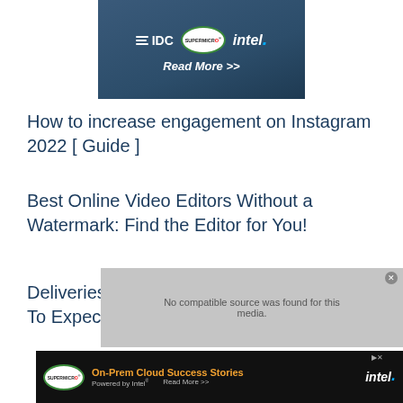[Figure (illustration): IDC, Supermicro, Intel banner ad with Read More >> button on dark blue background]
How to increase engagement on Instagram 2022 [ Guide ]
Best Online Video Editors Without a Watermark: Find the Editor for You!
Deliveries From China-What Delivery Times To Expect
[Figure (screenshot): Video player showing 'No compatible source was found for this media.']
[Figure (illustration): Supermicro and Intel On-Prem Cloud Success Stories advertisement banner]